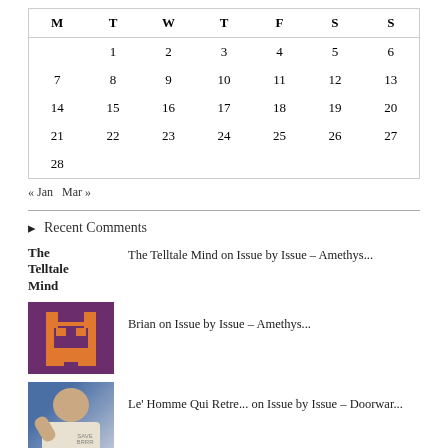| M | T | W | T | F | S | S |
| --- | --- | --- | --- | --- | --- | --- |
|  | 1 | 2 | 3 | 4 | 5 | 6 |
| 7 | 8 | 9 | 10 | 11 | 12 | 13 |
| 14 | 15 | 16 | 17 | 18 | 19 | 20 |
| 21 | 22 | 23 | 24 | 25 | 26 | 27 |
| 28 |  |  |  |  |  |  |
« Jan  Mar »
Recent Comments
The Telltale Mind on Issue by Issue – Amethys...
[Figure (illustration): Pixel art avatar icon with purple/orange robot-like figure]
Brian on Issue by Issue – Amethys...
[Figure (photo): Photo of a person with light background, wearing a white shirt]
Le' Homme Qui Retre... on Issue by Issue – Doorwar...